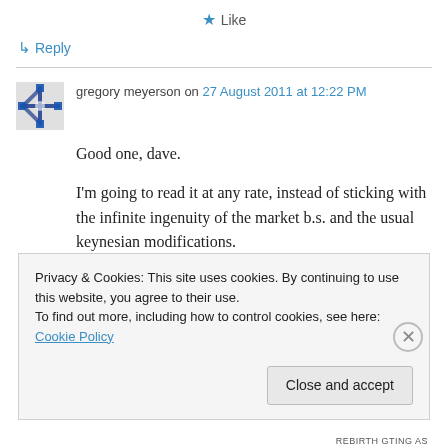★ Like
↳ Reply
gregory meyerson on 27 August 2011 at 12:22 PM
Good one, dave.
I'm going to read it at any rate, instead of sticking with the infinite ingenuity of the market b.s. and the usual keynesian modifications.
Privacy & Cookies: This site uses cookies. By continuing to use this website, you agree to their use. To find out more, including how to control cookies, see here: Cookie Policy
Close and accept